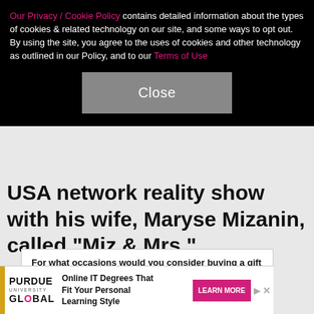Our Privacy / Cookie Policy contains detailed information about the types of cookies & related technology on our site, and some ways to opt out. By using the site, you agree to the uses of cookies and other technology as outlined in our Policy, and to our Terms of Use
Close
USA network reality show with his wife, Maryse Mizanin, called "Miz & Mrs."
For what occasions would you consider buying a gift card? (Select All that Apply)
Birthday
Wedding
Anniversaries
Graduation
[Figure (other): Purdue University Global advertisement banner: Online IT Degrees That Fit Your Personal Learning Style, Learn More button]